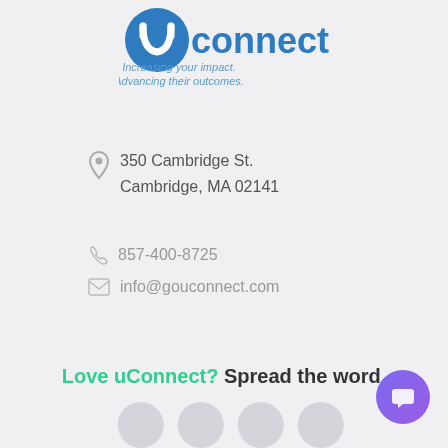[Figure (logo): uConnect logo with blue circle containing white 'u' and text 'uconnect' in blue, with tagline 'Increasing your impact. Advancing their outcomes.' in italic blue text]
350 Cambridge St.
Cambridge, MA 02141
857-400-8725
info@gouconnect.com
Love uConnect? Spread the word.